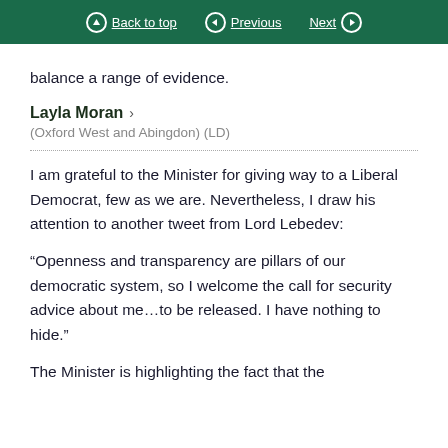Back to top  Previous  Next
balance a range of evidence.
Layla Moran > (Oxford West and Abingdon) (LD)
I am grateful to the Minister for giving way to a Liberal Democrat, few as we are. Nevertheless, I draw his attention to another tweet from Lord Lebedev:
“Openness and transparency are pillars of our democratic system, so I welcome the call for security advice about me…to be released. I have nothing to hide.”
The Minister is highlighting the fact that the